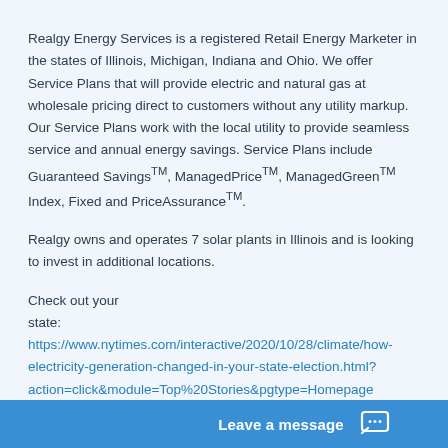Realgy Energy Services is a registered Retail Energy Marketer in the states of Illinois, Michigan, Indiana and Ohio. We offer Service Plans that will provide electric and natural gas at wholesale pricing direct to customers without any utility markup. Our Service Plans work with the local utility to provide seamless service and annual energy savings. Service Plans include Guaranteed Savings™, ManagedPrice™, ManagedGreen™ Index, Fixed and PriceAssurance™.
Realgy owns and operates 7 solar plants in Illinois and is looking to invest in additional locations.
Check out your state: https://www.nytimes.com/interactive/2020/10/28/climate/how-electricity-generation-changed-in-your-state-election.html?action=click&module=Top%20Stories&pgtype=Homepage
Leave a message